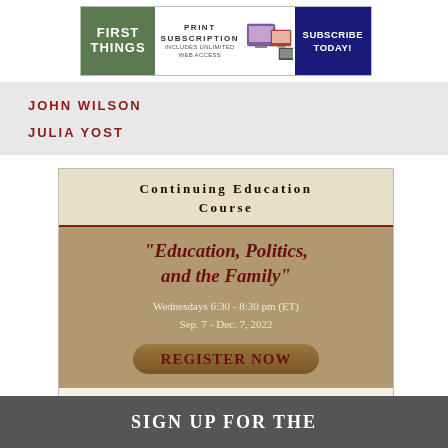[Figure (illustration): First Things magazine banner ad with logo, print subscription text, device screens, and Subscribe Today button]
JOHN WILSON
JULIA YOST
[Figure (infographic): Continuing Education Course advertisement: 'Education, Politics, and the Family' Wednesdays 6:30 - 8:30 pm (ET) Sep. 7 - Dec. 7, 2022. Register Now. Pontifical John Paul II Institute for Studies on Marriage & Family, Washington, DC]
SIGN UP FOR THE